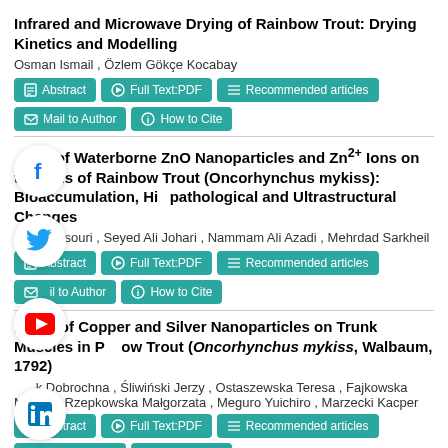Infrared and Microwave Drying of Rainbow Trout: Drying Kinetics and Modelling
Osman Ismail , Özlem Gökçe Kocabay
Abstract | Full Text:PDF | Recommended articles | Mail to Author | How to Cite
... s of Waterborne ZnO Nanoparticles and Zn2+ Ions on the Gills of Rainbow Trout (Oncorhynchus mykiss): Bioaccumulation, H... pathological and Ultrastructural Changes
... Mansouri , Seyed Ali Johari , Nammam Ali Azadi , Mehrdad Sarkheil
Abstract | Full Text:PDF | Recommended articles | Mail to Author | How to Cite
Effect of Copper and Silver Nanoparticles on Trunk Muscles in Rainbow Trout (Oncorhynchus mykiss, Walbaum, 1792)
... k Dobrochna , Śliwiński Jerzy , Ostaszewska Teresa , Fajkowska Magda , Rzepkowska Małgorzata , Meguro Yuichiro , Marzecki Kacper
Abstract | Full Text:PDF | Recommended articles | Mail to Author | How to Cite